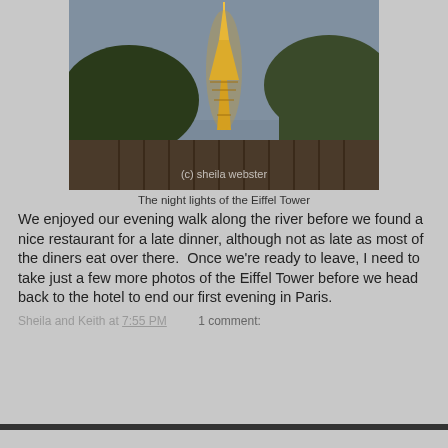[Figure (photo): Nighttime photo of the illuminated Eiffel Tower with trees in the foreground and a railing/bridge structure. Watermark reads '(c) sheila webster'.]
The night lights of the Eiffel Tower
We enjoyed our evening walk along the river before we found a nice restaurant for a late dinner, although not as late as most of the diners eat over there.  Once we're ready to leave, I need to take just a few more photos of the Eiffel Tower before we head back to the hotel to end our first evening in Paris.
Sheila and Keith at 7:55 PM   1 comment: